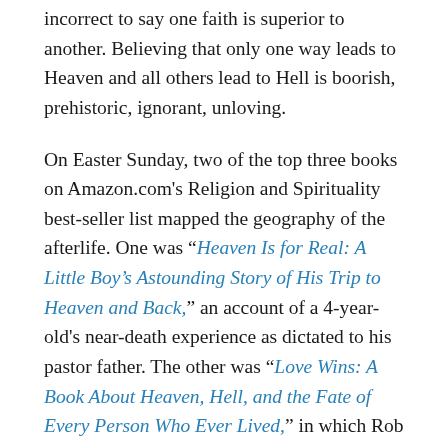incorrect to say one faith is superior to another. Believing that only one way leads to Heaven and all others lead to Hell is boorish, prehistoric, ignorant, unloving.
On Easter Sunday, two of the top three books on Amazon.com's Religion and Spirituality best-seller list mapped the geography of the afterlife. One was “Heaven Is for Real: A Little Boy’s Astounding Story of His Trip to Heaven and Back,” an account of a 4-year-old's near-death experience as dictated to his pastor father. The other was “Love Wins: A Book About Heaven, Hell, and the Fate of Every Person Who Ever Lived,” in which Rob Bell asks questions that raise the greater question of